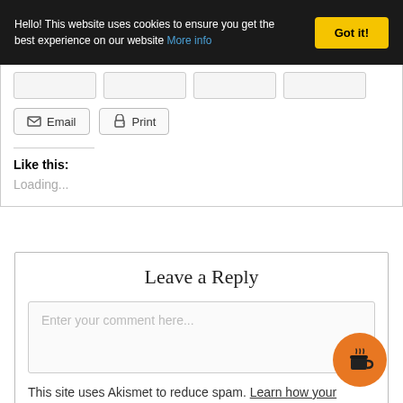Hello! This website uses cookies to ensure you get the best experience on our website More info
[Figure (screenshot): Share buttons row (partially visible) and Email/Print action buttons]
Like this:
Loading...
Leave a Reply
Enter your comment here...
This site uses Akismet to reduce spam. Learn how your comment data is processed.